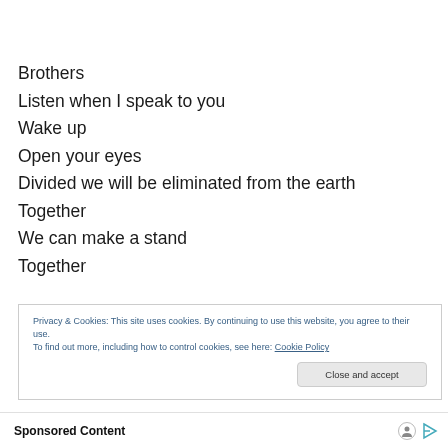Brothers
Listen when I speak to you
Wake up
Open your eyes
Divided we will be eliminated from the earth
Together
We can make a stand
Together
Privacy & Cookies: This site uses cookies. By continuing to use this website, you agree to their use. To find out more, including how to control cookies, see here: Cookie Policy
Close and accept
Sponsored Content